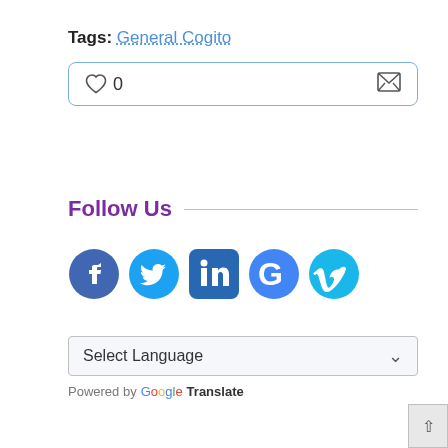Tags: General Cogito
[Figure (other): Like/heart button with count 0 and email icon in a rounded rectangle box]
Follow Us
[Figure (other): Social media icons: Facebook, Twitter, LinkedIn, Google+, Vimeo]
Select Language dropdown
Powered by Google Translate
[Figure (other): Search box with magnifying glass icon and scroll-to-top button]